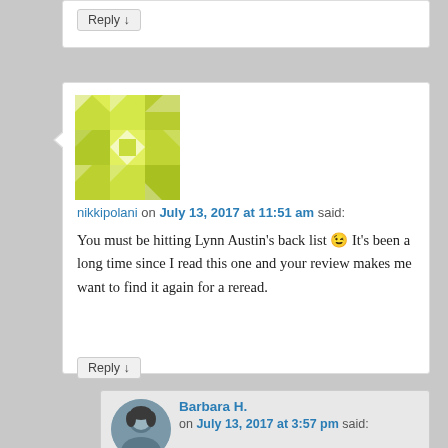Reply ↓
[Figure (illustration): Green and white geometric/mosaic avatar for user nikkipolani]
nikkipolani on July 13, 2017 at 11:51 am said:
You must be hitting Lynn Austin's back list 😉 It's been a long time since I read this one and your review makes me want to find it again for a reread.
Reply ↓
[Figure (photo): Round profile photo of Barbara H., a woman with dark hair]
Barbara H. on July 13, 2017 at 3:57 pm said:
Yes – I decided to read all of her books that I had accumulated on my Kindle app through various sales. It's interesting